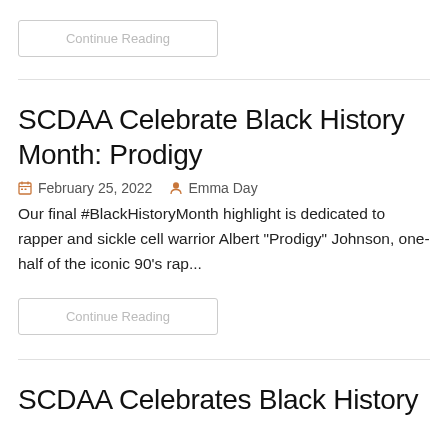Continue Reading
SCDAA Celebrate Black History Month: Prodigy
February 25, 2022   Emma Day
Our final #BlackHistoryMonth highlight is dedicated to rapper and sickle cell warrior Albert "Prodigy" Johnson, one-half of the iconic 90's rap...
Continue Reading
SCDAA Celebrates Black History